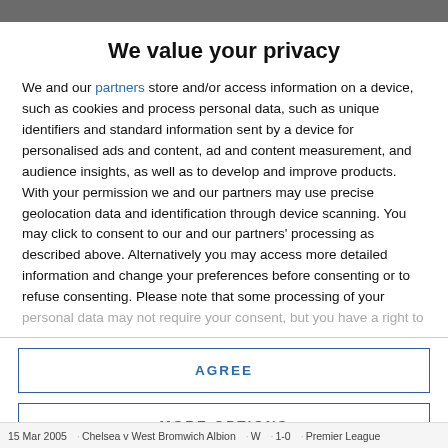We value your privacy
We and our partners store and/or access information on a device, such as cookies and process personal data, such as unique identifiers and standard information sent by a device for personalised ads and content, ad and content measurement, and audience insights, as well as to develop and improve products. With your permission we and our partners may use precise geolocation data and identification through device scanning. You may click to consent to our and our partners' processing as described above. Alternatively you may access more detailed information and change your preferences before consenting or to refuse consenting. Please note that some processing of your personal data may not require your consent, but you have a right to
AGREE
MORE OPTIONS
15 Mar 2005   Chelsea v West Bromwich Albion   W   1-0   Premier League